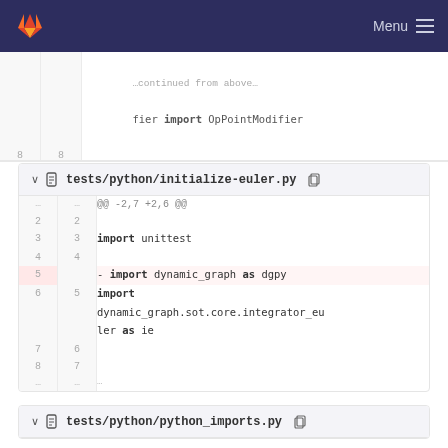Menu
fier import OpPointModifier
8  8
... ...
tests/python/initialize-euler.py
@@ -2,7 +2,6 @@
2  2
3  3  import unittest
4  4
5     - import dynamic_graph as dgpy
6  5  import dynamic_graph.sot.core.integrator_euler as ie
7  6
8  7
... ...
tests/python/python_imports.py